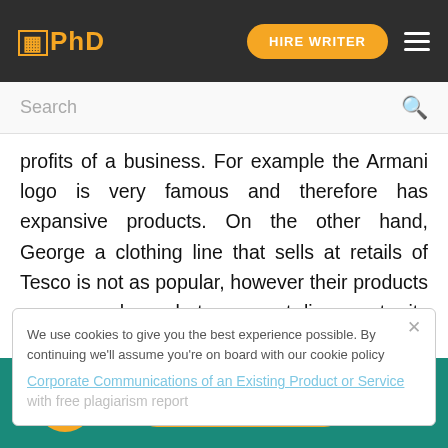IPhD | HIRE WRITER
Search
profits of a business. For example the Armani logo is very famous and therefore has expansive products. On the other hand, George a clothing line that sells at retails of Tesco is not as popular, however their products are very cheap but may not live up to its expectations of high quality.
We use cookies to give you the best experience possible. By continuing we'll assume you're on board with our cookie policy
Corporate Communications of an Existing Product or Service with free plagiarism report
HIRE WRITER